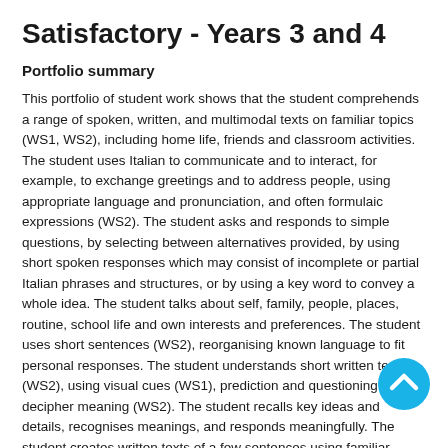Satisfactory - Years 3 and 4
Portfolio summary
This portfolio of student work shows that the student comprehends a range of spoken, written, and multimodal texts on familiar topics (WS1, WS2), including home life, friends and classroom activities. The student uses Italian to communicate and to interact, for example, to exchange greetings and to address people, using appropriate language and pronunciation, and often formulaic expressions (WS2). The student asks and responds to simple questions, by selecting between alternatives provided, by using short spoken responses which may consist of incomplete or partial Italian phrases and structures, or by using a key word to convey a whole idea. The student talks about self, family, people, places, routine, school life and own interests and preferences. The student uses short sentences (WS2), reorganising known language to fit personal responses. The student understands short written texts (WS2), using visual cues (WS1), prediction and questioning to decipher meaning (WS2). The student recalls key ideas and details, recognises meanings, and responds meaningfully. The student creates written texts of a few sentences using familiar language and structures (WS2).